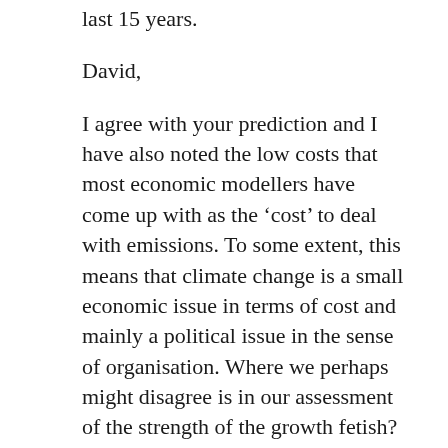last 15 years.
David,
I agree with your prediction and I have also noted the low costs that most economic modellers have come up with as the ‘cost’ to deal with emissions. To some extent, this means that climate change is a small economic issue in terms of cost and mainly a political issue in the sense of organisation. Where we perhaps might disagree is in our assessment of the strength of the growth fetish? My assessment that this force is very strong is what leads me to think a globally-adopted ETS an impossibility. Too much free-riding.